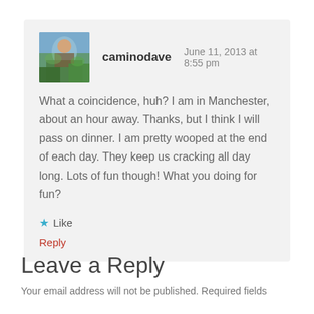[Figure (photo): Avatar photo of caminodave showing a person outdoors on a hillside]
caminodave   June 11, 2013 at 8:55 pm
What a coincidence, huh? I am in Manchester, about an hour away. Thanks, but I think I will pass on dinner. I am pretty wooped at the end of each day. They keep us cracking all day long. Lots of fun though! What you doing for fun?
★ Like
Reply
Leave a Reply
Your email address will not be published. Required fields